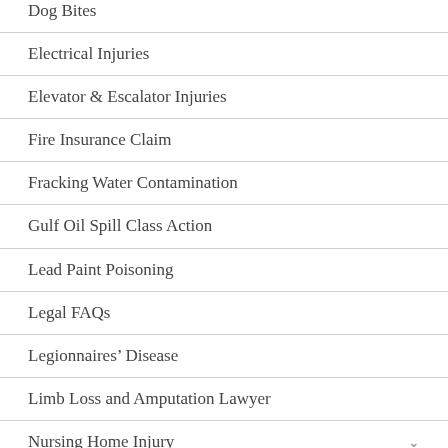Dog Bites
Electrical Injuries
Elevator & Escalator Injuries
Fire Insurance Claim
Fracking Water Contamination
Gulf Oil Spill Class Action
Lead Paint Poisoning
Legal FAQs
Legionnaires’ Disease
Limb Loss and Amputation Lawyer
Nursing Home Injury